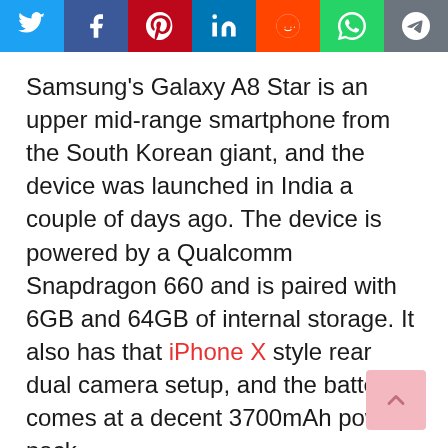[Figure (infographic): Social media share buttons bar: Twitter (blue), Facebook (dark blue), Pinterest (red), LinkedIn (blue), Reddit (orange-red), WhatsApp (green), Telegram (grey)]
Samsung's Galaxy A8 Star is an upper mid-range smartphone from the South Korean giant, and the device was launched in India a couple of days ago. The device is powered by a Qualcomm Snapdragon 660 and is paired with 6GB and 64GB of internal storage. It also has that iPhone X style rear dual camera setup, and the battery comes at a decent 3700mAh power pack.
[Figure (infographic): Scroll-to-top button: pink rounded rectangle with upward chevron arrow]